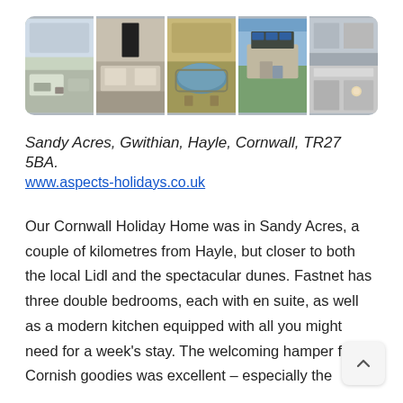[Figure (photo): A horizontal strip of 5 property photos showing interior living spaces, a hot tub, exterior with solar panels, and a kitchen.]
Sandy Acres, Gwithian, Hayle, Cornwall, TR27 5BA.
www.aspects-holidays.co.uk
Our Cornwall Holiday Home was in Sandy Acres, a couple of kilometres from Hayle, but closer to both the local Lidl and the spectacular dunes. Fastnet has three double bedrooms, each with en suite, as well as a modern kitchen equipped with all you might need for a week's stay. The welcoming hamper full of Cornish goodies was excellent – especially the cheese and chutney. There is also plenty of outside